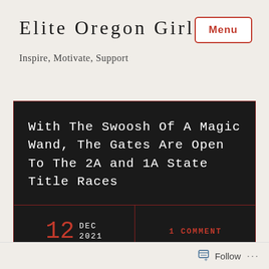Elite Oregon Girls
Inspire, Motivate, Support
With The Swoosh Of A Magic Wand, The Gates Are Open To The 2A and 1A State Title Races
12 DEC 2021
1 COMMENT
Follow ...